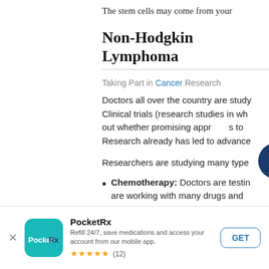The stem cells may come from your
Non-Hodgkin Lymphoma
Taking Part in Cancer Research
Doctors all over the country are studying Non-Hodgkin Lymphoma. Clinical trials (research studies in which people take part) find out whether promising approaches to treatment work well. Research already has led to advances in this field.
Researchers are studying many types of treatment:
Chemotherapy: Doctors are testing new approaches. They are working with many drugs and
[Figure (other): Accessibility icon — circular dark blue button with white wheelchair/person symbol]
PocketRx — Refill 24/7, save medications and access your account from our mobile app. ★★★★★ (12) GET